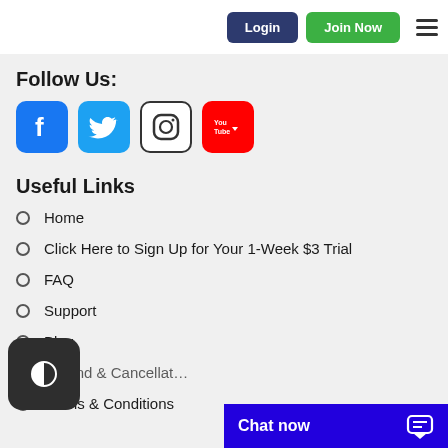Login | Join Now
Follow Us:
[Figure (illustration): Social media icons: Facebook (blue), Twitter (light blue), Instagram (white/black), YouTube (red)]
Useful Links
Home
Click Here to Sign Up for Your 1-Week $3 Trial
FAQ
Support
Blog
Refund & Cancellation
Terms & Conditions